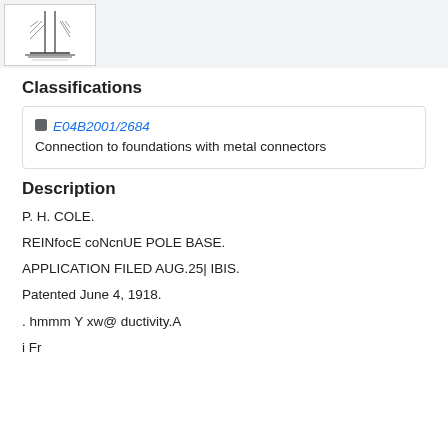[Figure (illustration): Thumbnail of a patent engineering drawing showing a pole base structure]
Classifications
E04B2001/2684  Connection to foundations with metal connectors
Description
P. H. COLE.
REINfocE coNcnUE POLE BASE.
APPLICATION FILED AUG.25| IBIS.
Patented June 4, 1918.
. hmmm Y xw@ ductivity.A
i Fr